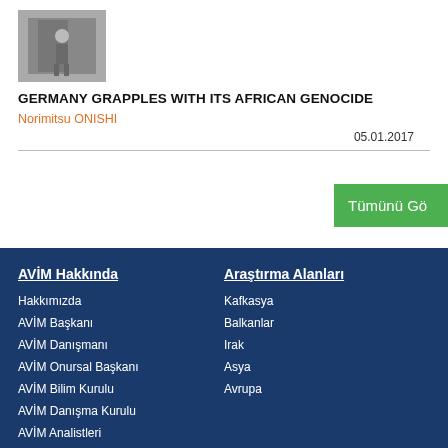[Figure (photo): Black and white photo of a person walking near a wall]
GERMANY GRAPPLES WITH ITS AFRICAN GENOCIDE
Norimitsu ONISHI
05.01.2017
AVİM Hakkında
Hakkımızda
AVİM Başkanı
AVİM Danışmanı
AVİM Onursal Başkanı
AVİM Bilim Kurulu
AVİM Danışma Kurulu
AVİM Analistleri
AVİM Uygulamalı Eğitim Programı
Araştırma Alanları
Kafkasya
Balkanlar
Irak
Asya
Avrupa
Dergiler
Sosyal Medya